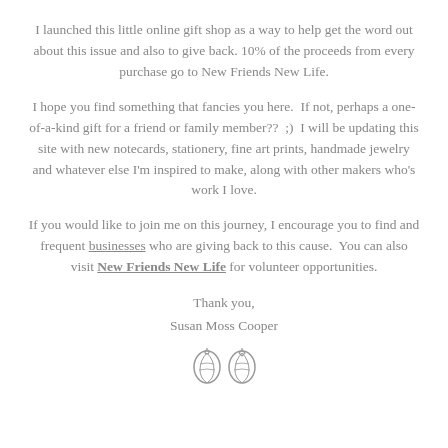I launched this little online gift shop as a way to help get the word out about this issue and also to give back. 10% of the proceeds from every purchase go to New Friends New Life.
I hope you find something that fancies you here.  If not, perhaps a one-of-a-kind gift for a friend or family member??  ;)  I will be updating this site with new notecards, stationery, fine art prints, handmade jewelry and whatever else I'm inspired to make, along with other makers who's work I love.
If you would like to join me on this journey, I encourage you to find and frequent businesses who are giving back to this cause.  You can also visit New Friends New Life for volunteer opportunities.
Thank you,
Susan Moss Cooper
[Figure (illustration): Two small leaf/nature icons side by side]